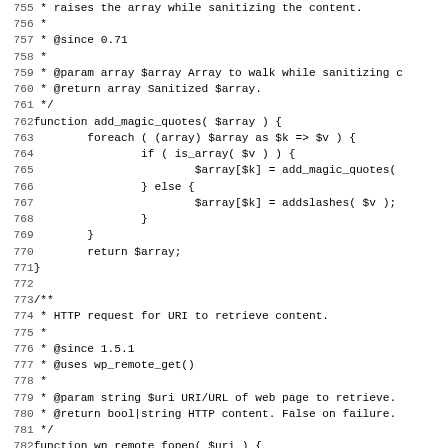PHP source code lines 755-787 showing add_magic_quotes() and wp_remote_fopen() functions with PHPDoc comments